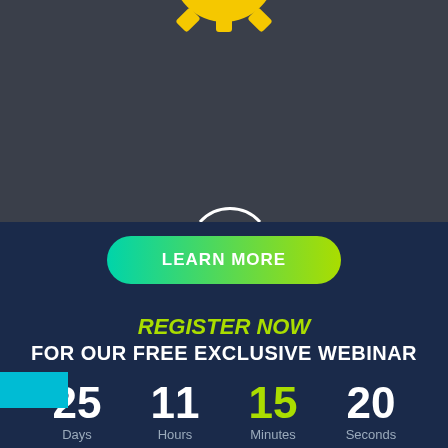[Figure (logo): Partial yellow gear/cog logo with text 'ALL LAW' visible at the top, on a dark gray background]
[Figure (illustration): Cyan/teal rectangle bar on left side, and partial white circle arc visible at bottom of dark gray section]
LEARN MORE
REGISTER NOW
FOR OUR FREE EXCLUSIVE WEBINAR
25 Days  11 Hours  15 Minutes  20 Seconds